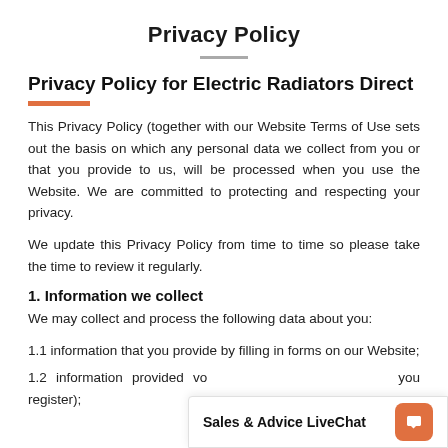Privacy Policy
Privacy Policy for Electric Radiators Direct
This Privacy Policy (together with our Website Terms of Use sets out the basis on which any personal data we collect from you or that you provide to us, will be processed when you use the Website. We are committed to protecting and respecting your privacy.
We update this Privacy Policy from time to time so please take the time to review it regularly.
1. Information we collect
We may collect and process the following data about you:
1.1 information that you provide by filling in forms on our Website;
1.2 information provided vo... you register);